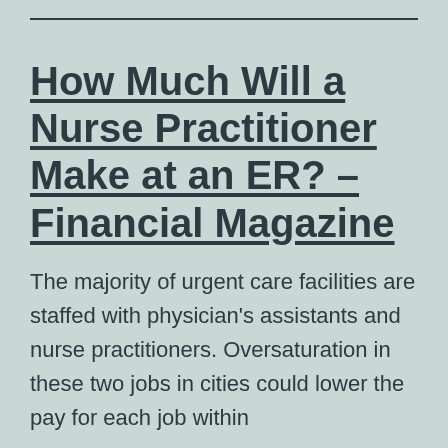How Much Will a Nurse Practitioner Make at an ER? – Financial Magazine
The majority of urgent care facilities are staffed with physician's assistants and nurse practitioners. Oversaturation in these two jobs in cities could lower the pay for each job within